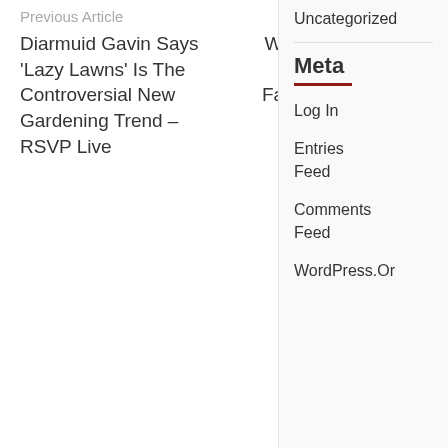Previous Article
Next Article
Diarmuid Gavin Says ‘Lazy Lawns’ Is The Controversial New Gardening Trend – RSVP Live
What To Consider When Starting A Vegetable Farm – Food For Mzansi
Uncategorized
Meta
Log In
Entries Feed
Comments Feed
WordPress.Or
RELATED ARTICLES
[Figure (table-as-image): Financial table thumbnail showing Three months ended columns for June 30 2022, June 30 2021, Variance to Q2-2021 ($), Variance to Q2-2021 (%), March 31 2022, Variance to Q1-2022 ($), and a partial column. Rows include revenue, sales (cost of sales), and profit before changes in fair value of...]